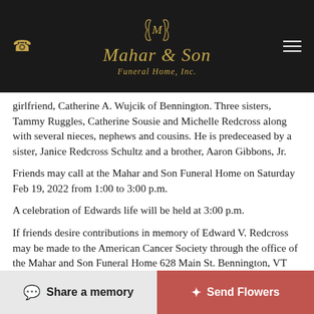Mahar & Son Funeral Home, Inc.
girlfriend, Catherine A. Wujcik of Bennington. Three sisters, Tammy Ruggles, Catherine Sousie and Michelle Redcross along with several nieces, nephews and cousins. He is predeceased by a sister, Janice Redcross Schultz and a brother, Aaron Gibbons, Jr.
Friends may call at the Mahar and Son Funeral Home on Saturday Feb 19, 2022 from 1:00 to 3:00 p.m.
A celebration of Edwards life will be held at 3:00 p.m.
If friends desire contributions in memory of Edward V. Redcross may be made to the American Cancer Society through the office of the Mahar and Son Funeral Home 628 Main St. Bennington, VT 05201. Guestbook condolences may be made at www.maharandsonfuneralhome.net
Share a memory | Send Flowers